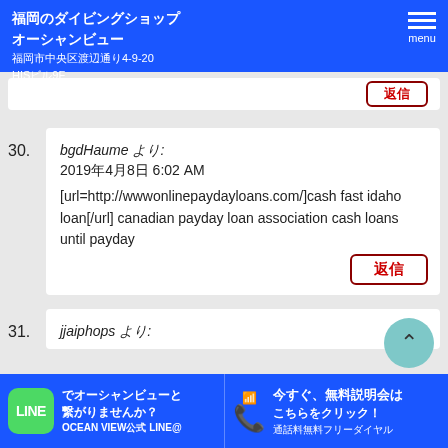福岡のダイビングショップ オーシャンビュー
福岡市中央区渡辺通り4-9-20
HISビル9F
30. bgdHaume より:
2019年4月8日 6:02 AM
[url=http://wwwonlinepaydayloans.com/]cash fast idaho loan[/url] canadian payday loan association cash loans until payday
31. jjaiphops より:
でオーシャンビューと繋がりませんか？ OCEAN VIEW公式 LINE@
今すぐ、無料説明会はこちらをクリック！ 通話料無料フリーダイヤル